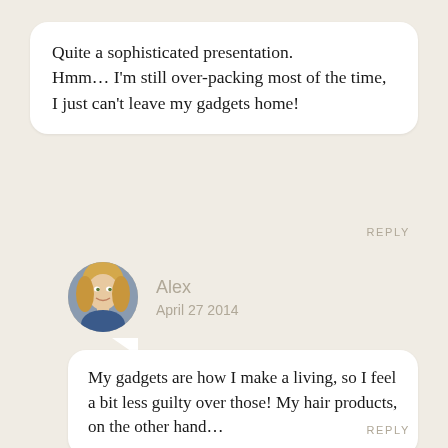Quite a sophisticated presentation.
Hmm... I'm still over-packing most of the time, I just can't leave my gadgets home!
REPLY
[Figure (photo): Circular avatar photo of a blonde woman named Alex]
Alex
April 27 2014
My gadgets are how I make a living, so I feel a bit less guilty over those! My hair products, on the other hand...
REPLY